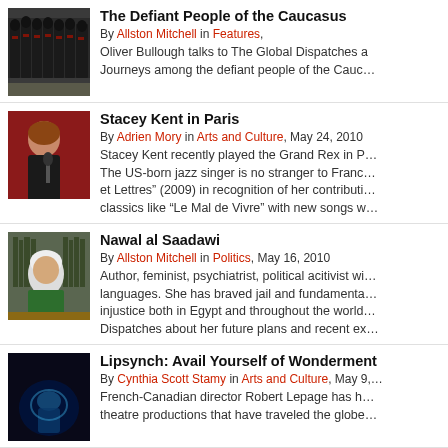[Figure (photo): Group of men in black and red traditional Caucasus uniforms standing in a row]
The Defiant People of the Caucasus
By Allston Mitchell in Features, Oliver Bullough talks to The Global Dispatches a Journeys among the defiant people of the Cauc...
[Figure (photo): Woman with reddish-brown hair singing into a microphone against a red background]
Stacey Kent in Paris
By Adrien Mory in Arts and Culture, May 24, 2010 Stacey Kent recently played the Grand Rex in P... The US-born jazz singer is no stranger to Franc... et Lettres” (2009) in recognition of her contributi... classics like “Le Mal de Vivre” with new songs w...
[Figure (photo): Elderly woman with white hair sitting at a desk surrounded by books]
Nawal al Saadawi
By Allston Mitchell in Politics, May 16, 2010 Author, feminist, psychiatrist, political acitivist wi... languages. She has braved jail and fundamenta... injustice both in Egypt and throughout the world... Dispatches about her future plans and recent ex...
[Figure (photo): Dark stage with blue-lit performer, theatre production photo]
Lipsynch: Avail Yourself of Wonderment
By Cynthia Scott Stamy in Arts and Culture, May 9,... French-Canadian director Robert Lepage has h... theatre productions that have traveled the globe...